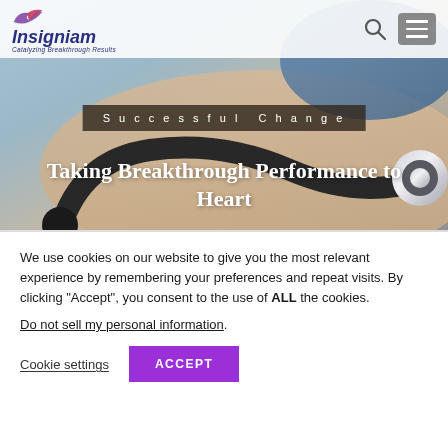[Figure (screenshot): Hero image of a stethoscope being applied to a patient, with a navigation bar showing the Insigniam logo, search icon, and menu button. Overlaid with 'Successful Change' category badge and 'Taking Breakthrough Performance to Heart' title.]
We use cookies on our website to give you the most relevant experience by remembering your preferences and repeat visits. By clicking “Accept”, you consent to the use of ALL the cookies.
Do not sell my personal information.
Cookie settings
ACCEPT